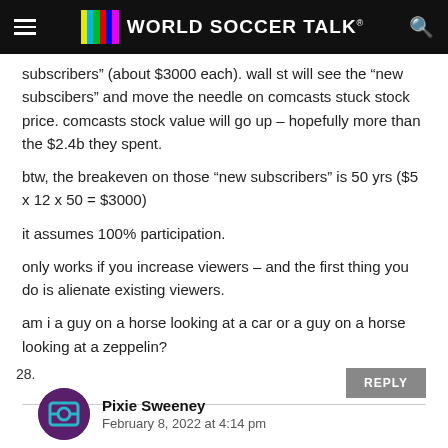World Soccer Talk
subscribers” (about $3000 each). wall st will see the “new subscibers” and move the needle on comcasts stuck stock price. comcasts stock value will go up – hopefully more than the $2.4b they spent.

btw, the breakeven on those “new subscribers” is 50 yrs ($5 x 12 x 50 = $3000)

it assumes 100% participation.

only works if you increase viewers – and the first thing you do is alienate existing viewers.

am i a guy on a horse looking at a car or a guy on a horse looking at a zeppelin?
28. Pixie Sweeney
February 8, 2022 at 4:14 pm